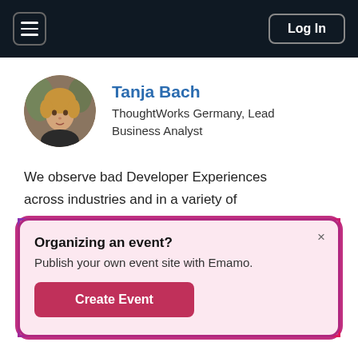☰  Log In
[Figure (photo): Circular profile photo of Tanja Bach, a woman with light hair]
Tanja Bach
ThoughtWorks Germany, Lead Business Analyst
We observe bad Developer Experiences across industries and in a variety of organisations and products. A common result of bad DX is a high cognitive load for ...
Organizing an event?
Publish your own event site with Emamo.
Create Event